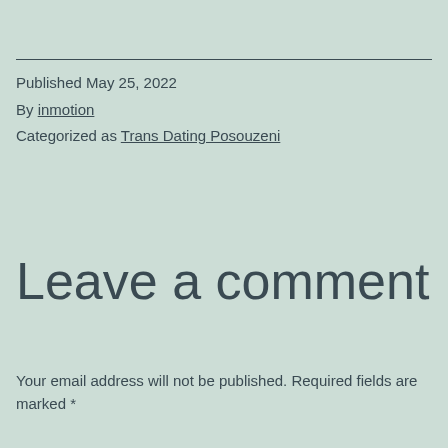Published May 25, 2022
By inmotion
Categorized as Trans Dating Posouzeni
Leave a comment
Your email address will not be published. Required fields are marked *